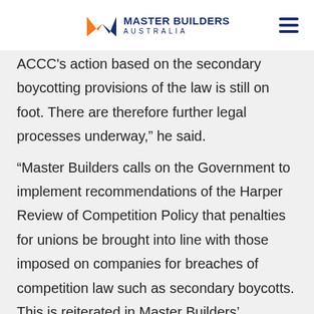Master Builders Australia
ACCC's action based on the secondary boycotting provisions of the law is still on foot. There are therefore further legal processes underway,” he said.
“Master Builders calls on the Government to implement recommendations of the Harper Review of Competition Policy that penalties for unions be brought into line with those imposed on companies for breaches of competition law such as secondary boycotts. This is reiterated in Master Builders’ Submission in response to the Draft Report of the Productivity Commission’s review of the workplace